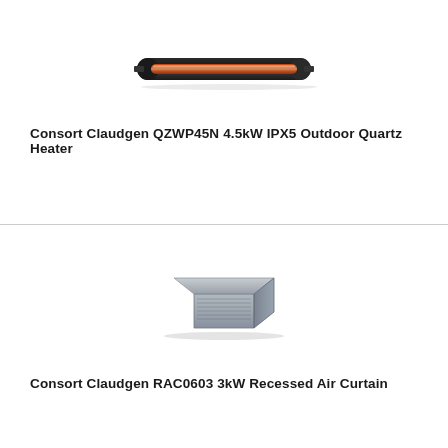[Figure (photo): Consort Claudgen QZWP45N 4.5kW IPX5 Outdoor Quartz Heater product image - a slim horizontal bar-shaped infrared quartz heater with dark casing and visible quartz tube elements]
Consort Claudgen QZWP45N 4.5kW IPX5 Outdoor Quartz Heater
[Figure (photo): Consort Claudgen RAC0603 3kW Recessed Air Curtain product image - a rectangular recessed unit with grey/silver casing viewed at an angle]
Consort Claudgen RAC0603 3kW Recessed Air Curtain